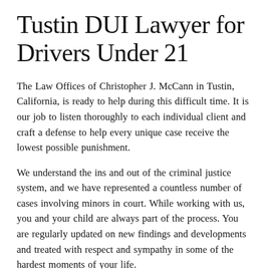Tustin DUI Lawyer for Drivers Under 21
The Law Offices of Christopher J. McCann in Tustin, California, is ready to help during this difficult time. It is our job to listen thoroughly to each individual client and craft a defense to help every unique case receive the lowest possible punishment.
We understand the ins and out of the criminal justice system, and we have represented a countless number of cases involving minors in court. While working with us, you and your child are always part of the process. You are regularly updated on new findings and developments and treated with respect and sympathy in some of the hardest moments of your life.